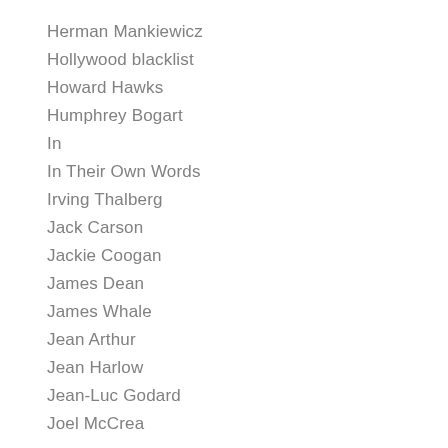Herman Mankiewicz
Hollywood blacklist
Howard Hawks
Humphrey Bogart
In
In Their Own Words
Irving Thalberg
Jack Carson
Jackie Coogan
James Dean
James Whale
Jean Arthur
Jean Harlow
Jean-Luc Godard
Joel McCrea